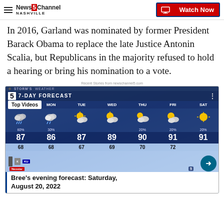NewsChannel 5 Nashville | Watch Now
In 2016, Garland was nominated by former President Barack Obama to replace the late Justice Antonin Scalia, but Republicans in the majority refused to hold a hearing or bring his nomination to a vote.
Recent Stories from newschannel5.com
[Figure (screenshot): 7-Day weather forecast card showing SUN through SAT with temperatures and precipitation percentages. Top highs: 87, 86, 87, 89, 90, 91, 91. Low temperatures: 68, 68, 67, 69, 70, 72. Precipitation: 60%, 30%, 20%, 20%, 20%. Top Videos badge overlay. Bree's evening forecast: Saturday, August 20, 2022 label at bottom.]